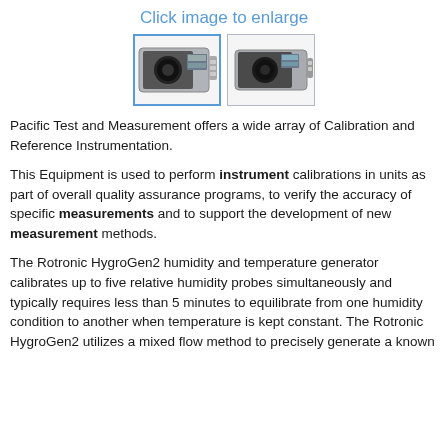Click image to enlarge
[Figure (photo): Two thumbnail photos of a Rotronic HygroGen2 humidity and temperature generator instrument, shown from slightly different angles.]
Pacific Test and Measurement offers a wide array of Calibration and Reference Instrumentation.
This Equipment is used to perform instrument calibrations in units as part of overall quality assurance programs, to verify the accuracy of specific measurements and to support the development of new measurement methods.
The Rotronic HygroGen2 humidity and temperature generator calibrates up to five relative humidity probes simultaneously and typically requires less than 5 minutes to equilibrate from one humidity condition to another when temperature is kept constant. The Rotronic HygroGen2 utilizes a mixed flow method to precisely generate a known